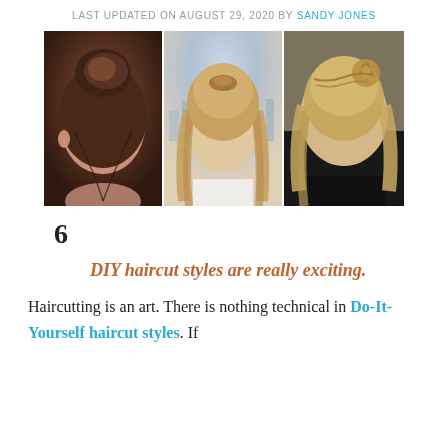LAST UPDATED ON AUGUST 29, 2020 BY SANDY JONES
[Figure (photo): Three-panel photo collage of women's hairstyles: left panel shows a dark messy bun updo from behind, center panel shows a blonde half-up hairstyle from behind with a city skyline background, right panel shows a blonde braided rose half-up style from behind against a dark background.]
6
DIY haircut styles are really exciting.
Haircutting is an art. There is nothing technical in Do-It-Yourself haircut styles. If